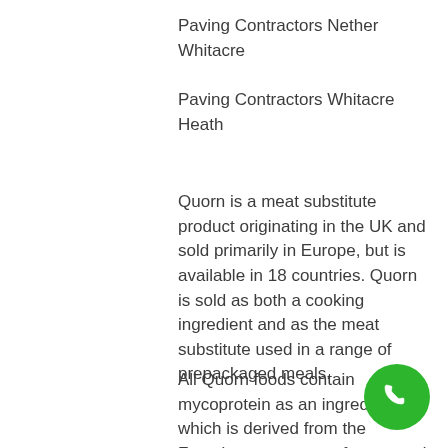Paving Contractors Nether Whitacre
Paving Contractors Whitacre Heath
Quorn is a meat substitute product originating in the UK and sold primarily in Europe, but is available in 18 countries. Quorn is sold as both a cooking ingredient and as the meat substitute used in a range of prepackaged meals.
All Quorn foods contain mycoprotein as an ingredient, which is derived from the Fusarium venenatum fungus and is grown by fermentation. In most Quorn products, the fungus culture is dried and mixed with egg albumen, which acts as a binder, and then is adjusted in texture and pressed into various forms. A vegan formulation also